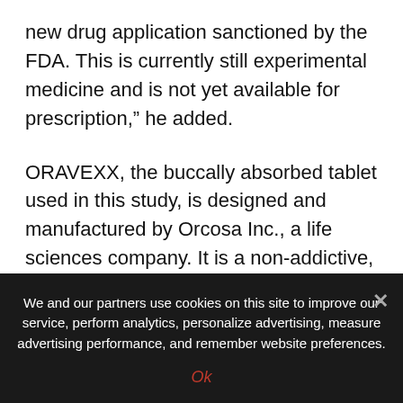new drug application sanctioned by the FDA. This is currently still experimental medicine and is not yet available for prescription," he added.
ORAVEXX, the buccally absorbed tablet used in this study, is designed and manufactured by Orcosa Inc., a life sciences company. It is a non-addictive, fast-absorbing CBD composition designed to treat pain.
Source: Read Full Article
Related posts:
We and our partners use cookies on this site to improve our service, perform analytics, personalize advertising, measure advertising performance, and remember website preferences.
Ok